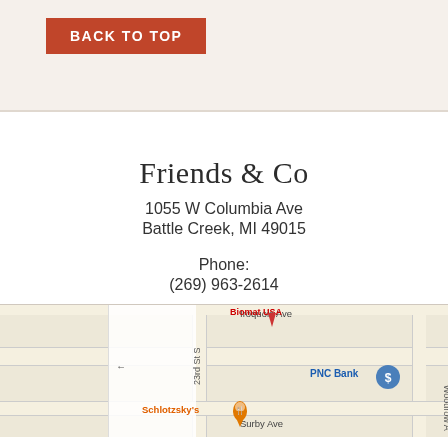BACK TO TOP
Friends & Co
1055 W Columbia Ave
Battle Creek, MI 49015
Phone:
(269) 963-2614
[Figure (map): Google Maps screenshot showing location near 1055 W Columbia Ave, Battle Creek, MI. Shows PNC Bank, Schlotzsky's, Biomat USA markers, and street labels including 23rd St S, Iroquois Ave, Surby Ave, Woodrow Ave.]